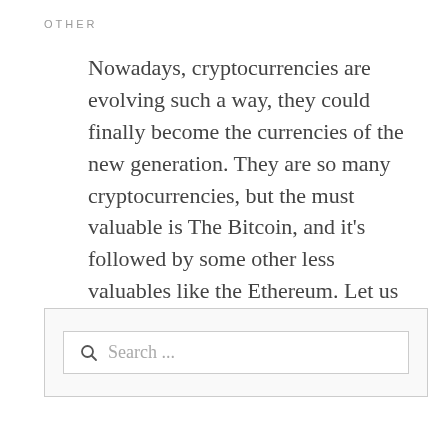OTHER
Nowadays, cryptocurrencies are evolving such a way, they could finally become the currencies of the new generation. They are so many cryptocurrencies, but the must valuable is The Bitcoin, and it's followed by some other less valuables like the Ethereum. Let us discover what Ethereum is and how to invest in it and make more [...]
[Figure (other): Search input box with magnifying glass icon and placeholder text 'Search ...']